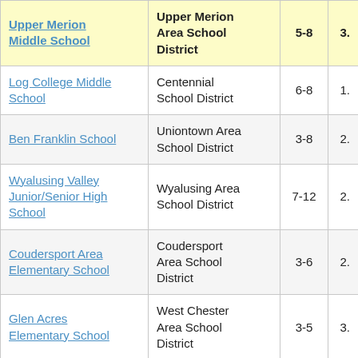| School | District | Grades |  |
| --- | --- | --- | --- |
| Upper Merion Middle School | Upper Merion Area School District | 5-8 | 3. |
| Log College Middle School | Centennial School District | 6-8 | 1. |
| Ben Franklin School | Uniontown Area School District | 3-8 | 2. |
| Wyalusing Valley Junior/Senior High School | Wyalusing Area School District | 7-12 | 2. |
| Coudersport Area Elementary School | Coudersport Area School District | 3-6 | 2. |
| Glen Acres Elementary School | West Chester Area School District | 3-5 | 3. |
| Twin Rivers Elementary School | Mckeesport Area School District | 3-5 | 2. |